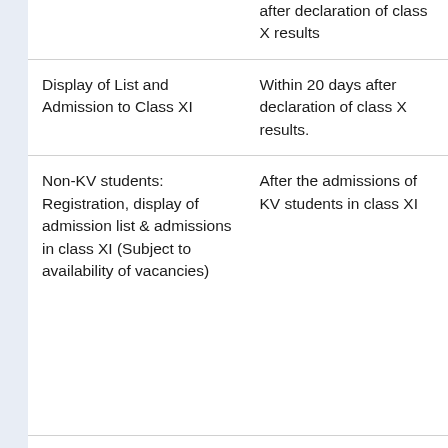|  | after declaration of class X results |
| Display of List and Admission to Class XI | Within 20 days after declaration of class X results. |
| Non-KV students: Registration, display of admission list & admissions in class XI (Subject to availability of vacancies) | After the admissions of KV students in class XI |